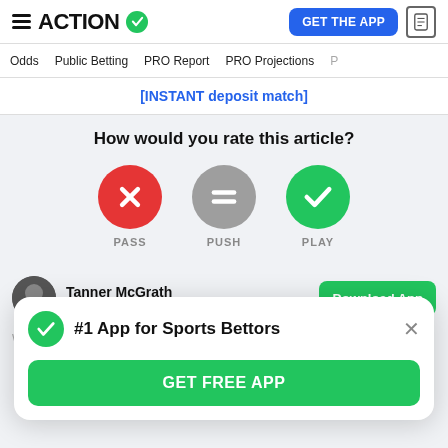ACTION (with checkmark logo) | GET THE APP | document icon
Odds  Public Betting  PRO Report  PRO Projections
[INSTANT deposit match]
How would you rate this article?
[Figure (infographic): Three rating buttons: PASS (red circle with X), PUSH (gray circle with equals sign), PLAY (green circle with checkmark)]
Tanner McGrath
Action Contributor
Download App
#1 App for Sports Bettors
GET FREE APP
WynnBET